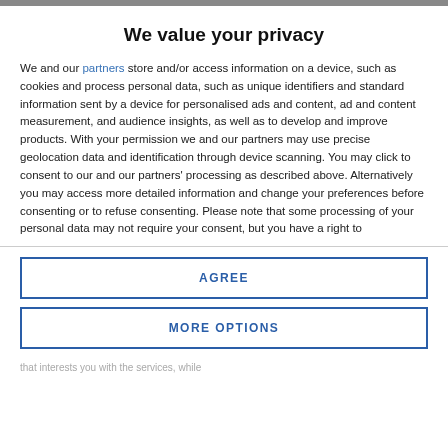We value your privacy
We and our partners store and/or access information on a device, such as cookies and process personal data, such as unique identifiers and standard information sent by a device for personalised ads and content, ad and content measurement, and audience insights, as well as to develop and improve products. With your permission we and our partners may use precise geolocation data and identification through device scanning. You may click to consent to our and our partners' processing as described above. Alternatively you may access more detailed information and change your preferences before consenting or to refuse consenting. Please note that some processing of your personal data may not require your consent, but you have a right to
AGREE
MORE OPTIONS
that interests you with the services, while